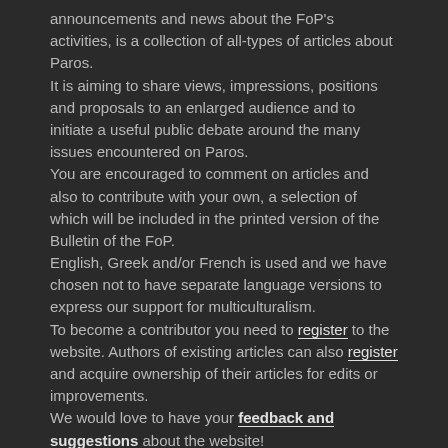announcements and news about the FoP's activities, is a collection of all-types of articles about Paros. It is aiming to share views, impressions, positions and proposals to an enlarged audience and to initiate a useful public debate around the many issues encountered on Paros. You are encouraged to comment on articles and also to contribute with your own, a selection of which will be included in the printed version of the Bulletin of the FoP. English, Greek and/or French is used and we have chosen not to have separate language versions to express our support for multiculturalism. To become a contributor you need to register to the website. Authors of existing articles can also register and acquire ownership of their articles for edits or improvements. We would love to have your feedback and suggestions about the website!
SEARCH